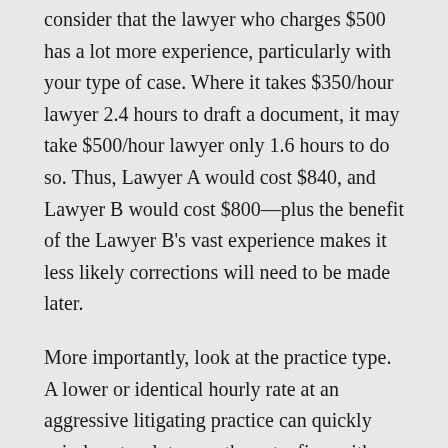consider that the lawyer who charges $500 has a lot more experience, particularly with your type of case. Where it takes $350/hour lawyer 2.4 hours to draft a document, it may take $500/hour lawyer only 1.6 hours to do so. Thus, Lawyer A would cost $840, and Lawyer B would cost $800—plus the benefit of the Lawyer B's vast experience makes it less likely corrections will need to be made later.
More importantly, look at the practice type.  A lower or identical hourly rate at an aggressive litigating practice can quickly spiral costs a lot more than at a firm with an eye towards out of court settlement and keeping costs low.
4. The Importance of Process